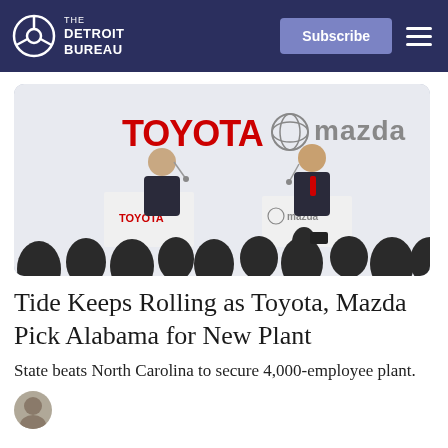The Detroit Bureau
[Figure (photo): Press conference with two executives at podiums labeled Toyota and Mazda, with Toyota and Mazda logos displayed prominently above them, and an audience in silhouette in the foreground.]
Tide Keeps Rolling as Toyota, Mazda Pick Alabama for New Plant
State beats North Carolina to secure 4,000-employee plant.